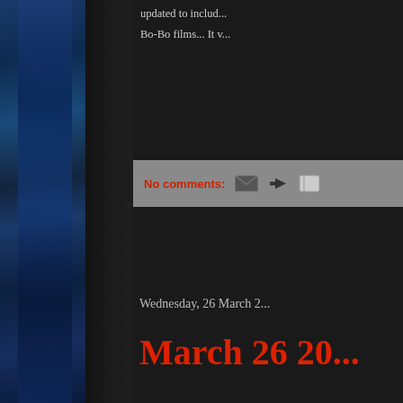[Figure (photo): Blue fabric or curtain texture visible on the left side panel of the page]
updated to includ... Bo-Bo films... It v...
No comments:
Wednesday, 26 March 2...
March 26 20...
There will be no dramatic c... done, but I am just too bus... unbelievable and amazing ... -I have finished the script f... life first before i can start s... -I am still working out the ... waiting for that, so I can gi... sub plot involving a bunny... next couple of weeks.... jus... -Music wise.... nothing fro... More soon.